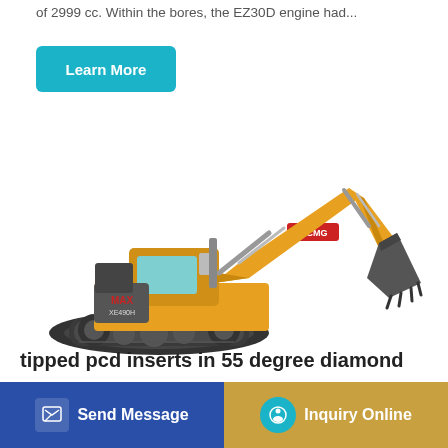of 2999 cc. Within the bores, the EZ30D engine had...
[Figure (illustration): XCMG yellow hydraulic excavator, model XE490H, on crawler tracks with boom arm and bucket extended to the right]
tipped pcd inserts in 55 degree diamond
tipped pcd inserts in 55 degree diamond shape D for hard...